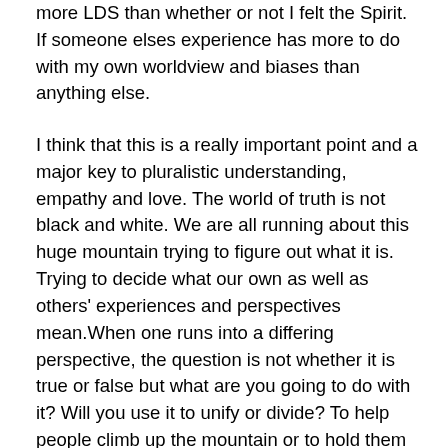more LDS than whether or not I felt the Spirit. If someone elses experience has more to do with my own worldview and biases than anything else.
I think that this is a really important point and a major key to pluralistic understanding, empathy and love. The world of truth is not black and white. We are all running about this huge mountain trying to figure out what it is. Trying to decide what our own as well as others' experiences and perspectives mean.When one runs into a differing perspective, the question is not whether it is true or false but what are you going to do with it? Will you use it to unify or divide? To help people climb up the mountain or to hold them down? My goal in this article is to unify, and to show LDS people ways which some of our prideful traditions or scriptural interpretations might be polarizing people into division and unbelief. How some of our reactions to other perspectives might force people further and further out of the Church. As an example, I offer this pretty typical reaction of an (LDS?) mother's reacting